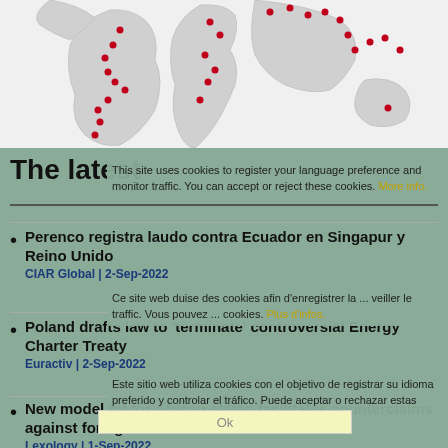[Figure (map): World map with red dots marking various locations across South America, Europe, Africa, and Asia-Pacific regions]
The latest
This site uses cookies to register your language preference and monitor traffic. You can accept or reject these cookies. More info.
Perenco registra laudo contra Ecuador en Singapur y Reino Unido
CIAR Global | 2-Sep-2022
Ce site web duise des cookies afin d'enregistrer la ... veiller le traffic. Vous pouvez ... cookies. Plus d'infos.
Poland drafts law to 'terminate' controversial Energy Charter Treaty
Euractiv | 2-Sep-2022
Este sitio web utiliza cookies con el objetivo de registrar su idioma preferido y controlar el tráfico. Puede aceptar o rechazar estas cookies. Mayor información.
New model bit for African states facilitates counterclaims against foreign investors
Lexology | 1-Sep-2022